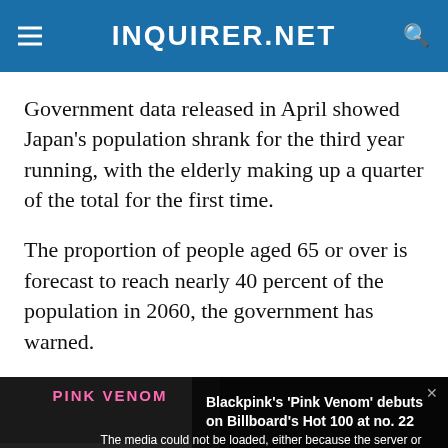INQUIRER.NET
Government data released in April showed Japan’s population shrank for the third year running, with the elderly making up a quarter of the total for the first time.
The proportion of people aged 65 or over is forecast to reach nearly 40 percent of the population in 2060, the government has warned.
[Figure (screenshot): Video media player overlay showing a BLACKPINK 'Pink Venom' video thumbnail with a media error message: 'The media could not be loaded, either because the server or network failed or because the format is not supported.' Sidebar shows text: Blackpink’s ‘Pink Venom’ debuts on Billboard’s Hot 100 at no. 22. An orange chat button and X close button are visible.]